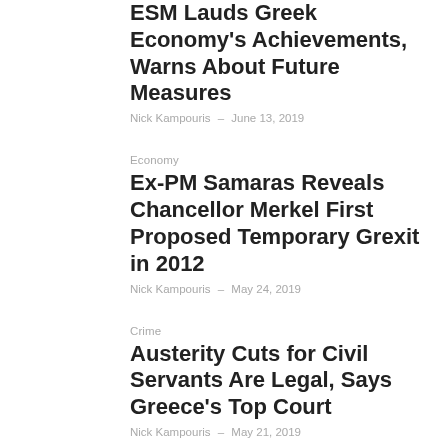ESM Lauds Greek Economy's Achievements, Warns About Future Measures
Nick Kampouris – June 13, 2019
Economy
Ex-PM Samaras Reveals Chancellor Merkel First Proposed Temporary Grexit in 2012
Nick Kampouris – May 24, 2019
Crime
Austerity Cuts for Civil Servants Are Legal, Says Greece's Top Court
Nick Kampouris – May 21, 2019
Greece
Study Shows Greek Hotels Overwhelmingly Dependent on Foreigners